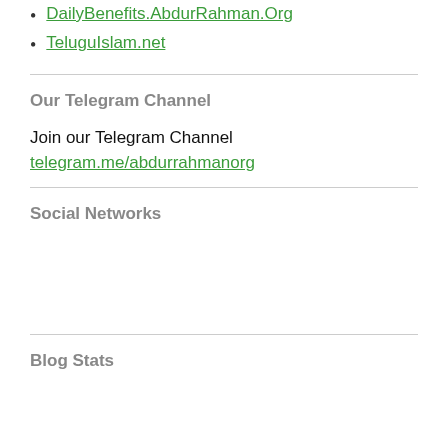DailyBenefits.AbdurRahman.Org
TeluguIslam.net
Our Telegram Channel
Join our Telegram Channel
telegram.me/abdurrahmanorg
Social Networks
Blog Stats